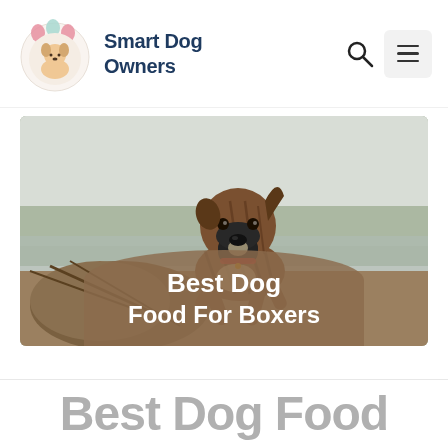Smart Dog Owners
[Figure (photo): A brindle Boxer dog leaping in the air outdoors near water and trees. Text overlay reads 'Best Dog Food For Boxers' on a brown rounded banner at the bottom of the image.]
Best Dog Food For Boxers